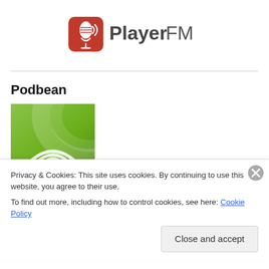[Figure (logo): Player FM logo with microphone icon and 'Player FM' text]
Podbean
[Figure (illustration): Podbean green gradient image with wifi/broadcast icon]
Privacy & Cookies: This site uses cookies. By continuing to use this website, you agree to their use.
To find out more, including how to control cookies, see here: Cookie Policy
Close and accept